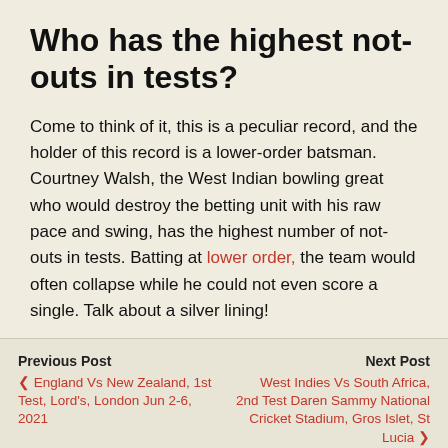Who has the highest not-outs in tests?
Come to think of it, this is a peculiar record, and the holder of this record is a lower-order batsman. Courtney Walsh, the West Indian bowling great who would destroy the betting unit with his raw pace and swing, has the highest number of not-outs in tests. Batting at lower order, the team would often collapse while he could not even score a single. Talk about a silver lining!
Previous Post: England Vs New Zealand, 1st Test, Lord's, London Jun 2-6, 2021 | Next Post: West Indies Vs South Africa, 2nd Test Daren Sammy National Cricket Stadium, Gros Islet, St Lucia